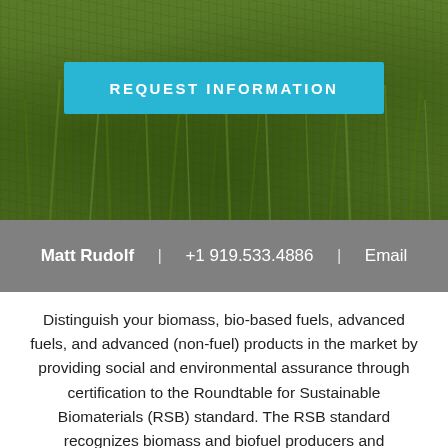[Figure (photo): Green grass background image filling the top hero section of the page]
REQUEST INFORMATION
Matt Rudolf   |   +1 919.533.4886   |   Email
Distinguish your biomass, bio-based fuels, advanced fuels, and advanced (non-fuel) products in the market by providing social and environmental assurance through certification to the Roundtable for Sustainable Biomaterials (RSB) standard. The RSB standard recognizes biomass and biofuel producers and processors who adhere to stringent social responsibility and environmental stewardship criteria, reaching well above